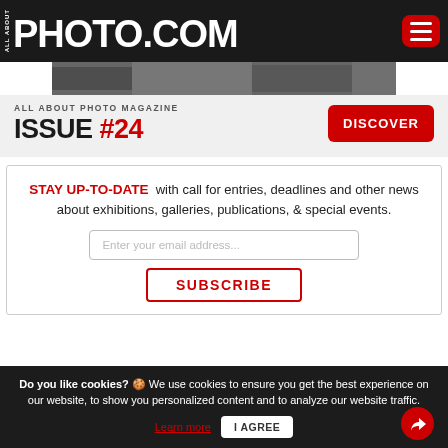ALL ABOUT PHOTO.COM
[Figure (screenshot): Magazine cover image cropped bar]
ALL ABOUT PHOTO MAGAZINE
ISSUE #24
DISCOVER
STAY UP-TO-DATE with call for entries, deadlines and other news about exhibitions, galleries, publications, & special events.
Enter your email address...
SUBSCRIBE
Do you like cookies? 🍪 We use cookies to ensure you get the best experience on our website, to show you personalized content and to analyze our website traffic.
Learn more
I AGREE